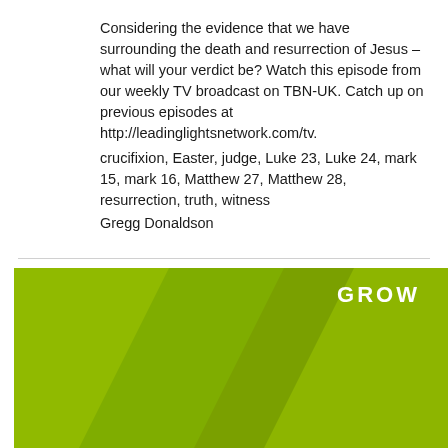Considering the evidence that we have surrounding the death and resurrection of Jesus – what will your verdict be? Watch this episode from our weekly TV broadcast on TBN-UK. Catch up on previous episodes at http://leadinglightsnetwork.com/tv. crucifixion, Easter, judge, Luke 23, Luke 24, mark 15, mark 16, Matthew 27, Matthew 28, resurrection, truth, witness
Gregg Donaldson
[Figure (illustration): Green banner with diagonal darker green chevron/stripe design and the word GROW in bold white uppercase letters on the right side]